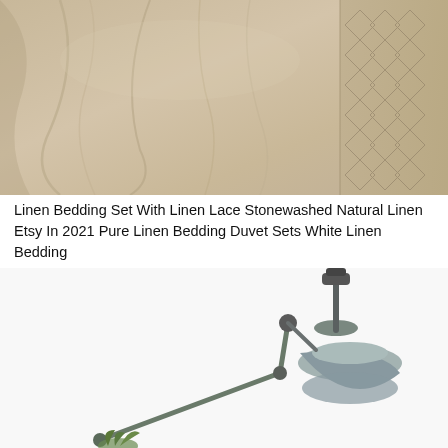[Figure (photo): Close-up photograph of natural linen bedding fabric with lace trim detail on the right side. The fabric has a textured, wrinkled appearance in a warm beige/natural tone.]
Linen Bedding Set With Linen Lace Stonewashed Natural Linen Etsy In 2021 Pure Linen Bedding Duvet Sets White Linen Bedding
[Figure (photo): Photograph of a vintage-style industrial adjustable desk lamp in grey/silver metal, with an articulated arm, on a white background. Small green plant visible at the bottom.]